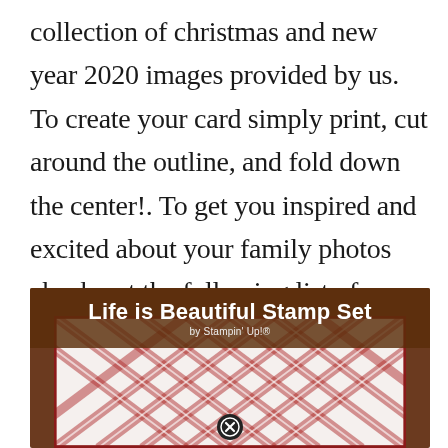collection of christmas and new year 2020 images provided by us. To create your card simply print, cut around the outline, and fold down the center!. To get you inspired and excited about your family photos check out the following list of unbelievably awesome christmas card photo ideas (courtesy of the world of pinterest).
[Figure (photo): Photo of a Christmas card craft item — 'Life is Beautiful Stamp Set by Stampin' Up!' displayed over a wood background with red and white plaid pattern card visible below. A close/dismiss button (circled X) appears at the bottom.]